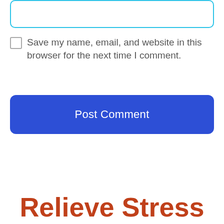[Figure (screenshot): Partial text input box with cyan/teal border, rounded corners, visible at top of page]
Save my name, email, and website in this browser for the next time I comment.
[Figure (screenshot): Post Comment button — large blue rounded rectangle with white text 'Post Comment']
Relieve Stress